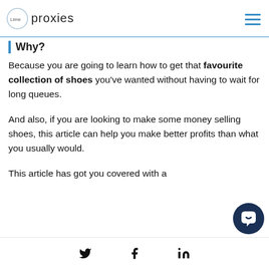Lime proxies
Why?
Because you are going to learn how to get that favourite collection of shoes you've wanted without having to wait for long queues.
And also, if you are looking to make some money selling shoes, this article can help you make better profits than what you usually would.
This article has got you covered with a
Twitter Facebook LinkedIn